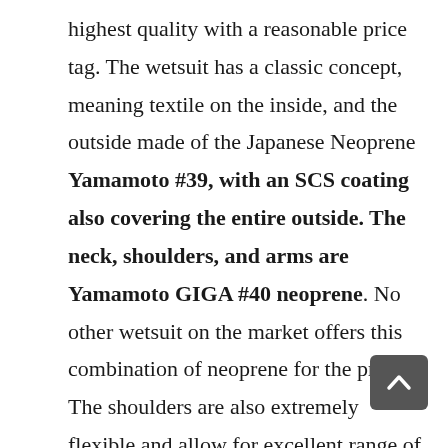highest quality with a reasonable price tag. The wetsuit has a classic concept, meaning textile on the inside, and the outside made of the Japanese Neoprene Yamamoto #39, with an SCS coating also covering the entire outside. The neck, shoulders, and arms are Yamamoto GIGA #40 neoprene. No other wetsuit on the market offers this combination of neoprene for the price! The shoulders are also extremely flexible and allow for excellent range of motion. The suit also is made with Aquaman innovations like the